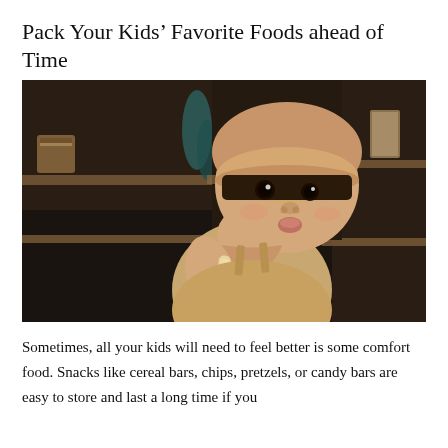Pack Your Kids’ Favorite Foods ahead of Time
[Figure (photo): A young toddler wearing a tan/beige bonnet hat and matching sleeveless outfit, holding a round stick snack (like a wafer roll), looking at the camera with mouth slightly puckered. The background shows dark wooden shelves with dishware and kitchen items.]
Sometimes, all your kids will need to feel better is some comfort food. Snacks like cereal bars, chips, pretzels, or candy bars are easy to store and last a long time if you